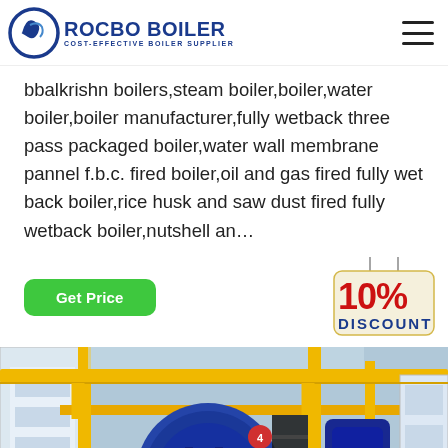ROCBO BOILER - COST-EFFECTIVE BOILER SUPPLIER
bbalkrishn boilers,steam boiler,boiler,water boiler,boiler manufacturer,fully wetback three pass packaged boiler,water wall membrane pannel f.b.c. fired boiler,oil and gas fired fully wet back boiler,rice husk and saw dust fired fully wetback boiler,nutshell an...
Get Price
[Figure (infographic): 10% DISCOUNT badge with red and blue text on a hanging tag graphic]
[Figure (photo): Industrial boiler installation showing large blue cylindrical boilers with yellow pipes, staircases, and white structures in a factory setting]